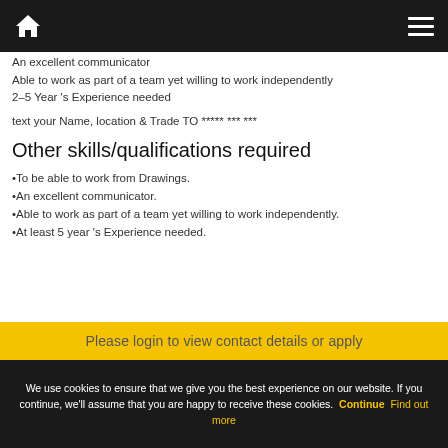Home | Menu
An excellent communicator
Able to work as part of a team yet willing to work independently
2–5 Year 's Experience needed
text your Name, location & Trade TO ***** *** ***
Other skills/qualifications required
•To be able to work from Drawings.
•An excellent communicator.
•Able to work as part of a team yet willing to work independently.
•At least 5 year 's Experience needed.
Please login to view contact details or apply
We use cookies to ensure that we give you the best experience on our website. If you continue, we'll assume that you are happy to receive these cookies. Continue   Find out more